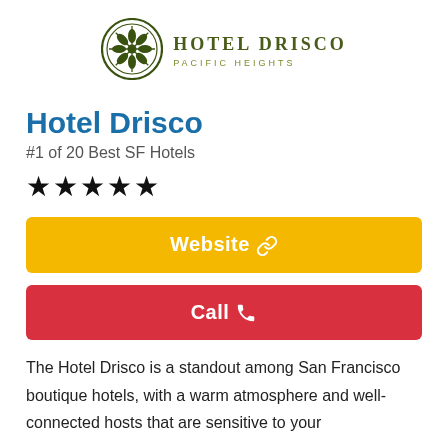[Figure (logo): Hotel Drisco Pacific Heights logo — circular green emblem with floral/citrus pattern, next to text 'HOTEL DRISCO' and 'PACIFIC HEIGHTS' in olive/green serif and sans-serif lettering]
Hotel Drisco
#1 of 20 Best SF Hotels
★★★★★
Website 🔗
Call 📞
The Hotel Drisco is a standout among San Francisco boutique hotels, with a warm atmosphere and well-connected hosts that are sensitive to your